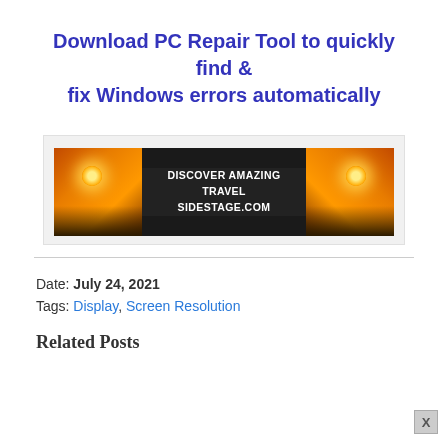Download PC Repair Tool to quickly find & fix Windows errors automatically
[Figure (illustration): Advertisement banner for SIDESTAGE.COM travel website showing two sunset/sunrise cliff images flanking centered text: DISCOVER AMAZING TRAVEL SIDESTAGE.COM]
Date: July 24, 2021
Tags: Display, Screen Resolution
Related Posts